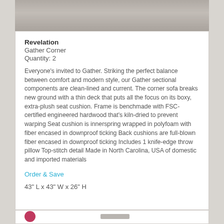[Figure (photo): Top portion of a furniture photo showing a gray/beige textured surface, likely a sofa or sectional fabric]
Revelation
Gather Corner
Quantity: 2
Everyone's invited to Gather. Striking the perfect balance between comfort and modern style, our Gather sectional components are clean-lined and current. The corner sofa breaks new ground with a thin deck that puts all the focus on its boxy, extra-plush seat cushion. Frame is benchmade with FSC-certified engineered hardwood that's kiln-dried to prevent warping Seat cushion is innerspring wrapped in polyfoam with fiber encased in downproof ticking Back cushions are full-blown fiber encased in downproof ticking Includes 1 knife-edge throw pillow Top-stitch detail Made in North Carolina, USA of domestic and imported materials
Order & Save
43" L x 43" W x 26" H